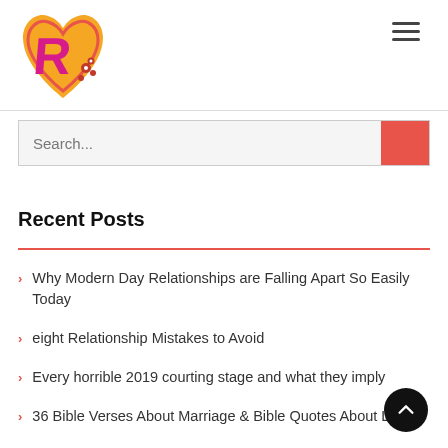[Figure (logo): Heart-shaped logo with orange/red heart, pink letter R, and red flower decorations]
[Figure (other): Hamburger menu icon (three horizontal lines)]
Search...
Recent Posts
Why Modern Day Relationships are Falling Apart So Easily Today
eight Relationship Mistakes to Avoid
Every horrible 2019 courting stage and what they imply
36 Bible Verses About Marriage & Bible Quotes About Love